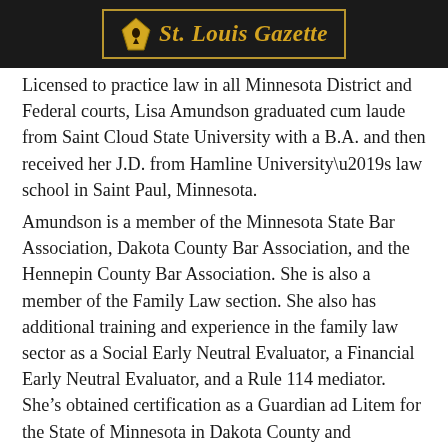St. Louis Gazette
Licensed to practice law in all Minnesota District and Federal courts, Lisa Amundson graduated cum laude from Saint Cloud State University with a B.A. and then received her J.D. from Hamline University’s law school in Saint Paul, Minnesota.
Amundson is a member of the Minnesota State Bar Association, Dakota County Bar Association, and the Hennepin County Bar Association. She is also a member of the Family Law section. She also has additional training and experience in the family law sector as a Social Early Neutral Evaluator, a Financial Early Neutral Evaluator, and a Rule 114 mediator. She’s obtained certification as a Guardian ad Litem for the State of Minnesota in Dakota County and previously passed the